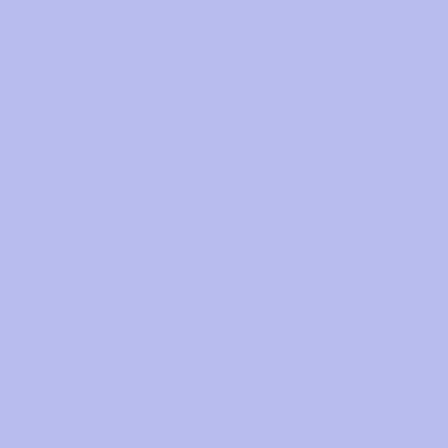born 10/09/1852
John Newport Langley scientist, born 11/02/1852
Antoine Henri Becquerel French physicist, scientist, born 12/15/1852
Albert Abraham Michelson Physicist, scientist, born 12/29/1852
Victor-Alphonse Huard French Canadian priest and naturalist, scientist, born 02/28/1853
Salvatore Pincherle Italian mathematician, scientist, born